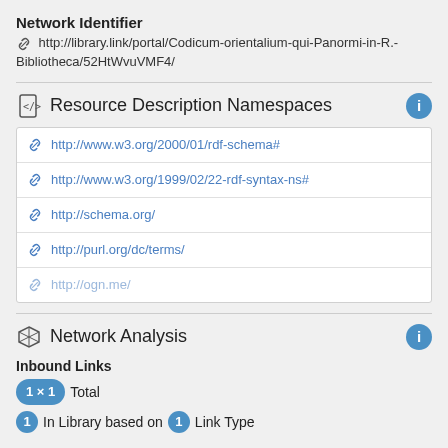Network Identifier
http://library.link/portal/Codicum-orientalium-qui-Panormi-in-R.-Bibliotheca/52HtWvuVMF4/
Resource Description Namespaces
http://www.w3.org/2000/01/rdf-schema#
http://www.w3.org/1999/02/22-rdf-syntax-ns#
http://schema.org/
http://purl.org/dc/terms/
http://ogn.me/
Network Analysis
Inbound Links
1 × 1 Total
1 In Library based on 1 Link Type